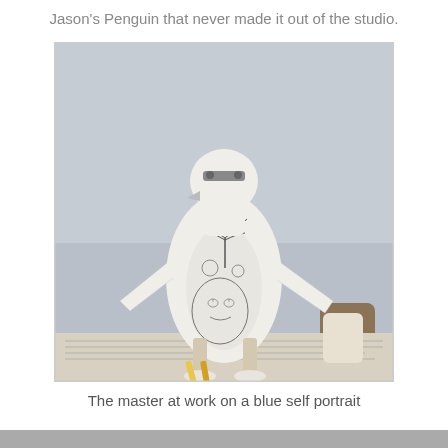Jason's Penguin that never made it out of the studio.
[Figure (photo): A white ceramic/clay penguin sculpture sitting on newspaper, with detailed pencil-drawn artwork on its body including a face portrait, palm tree, and decorative elements. The penguin has outstretched wing-like arms and legs resembling stilts. Paintbrushes are visible in the foreground.]
The master at work on a blue self portrait